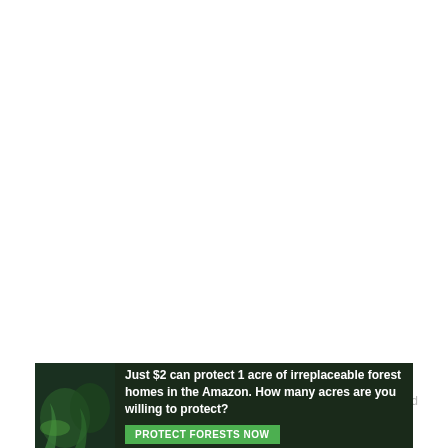[Figure (logo): Ezoic logo with green circular icon and 'ezoic' text in bold]
report this ad
Resources
Houseplant Care Charts
Vegetable Gardening Charts
Planting Fruits Charts
Herb Gardening Charts
[Figure (photo): Ad banner with dark forest background: 'Just $2 can protect 1 acre of irreplaceable forest homes in the Amazon. How many acres are you willing to protect?' with green 'PROTECT FORESTS NOW' button]